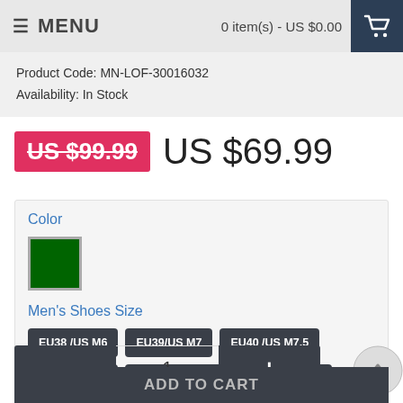MENU    0 item(s) - US $0.00
Product Code: MN-LOF-30016032
Availability: In Stock
US $99.99  US $69.99
Color
[Figure (other): Green color swatch square]
Men's Shoes Size
EU38 /US M6  EU39/US M7  EU40 /US M7.5  EU41 /US M8  EU 42 /US M8.5  EU 43 /US M 9
- 1 +
ADD TO CART